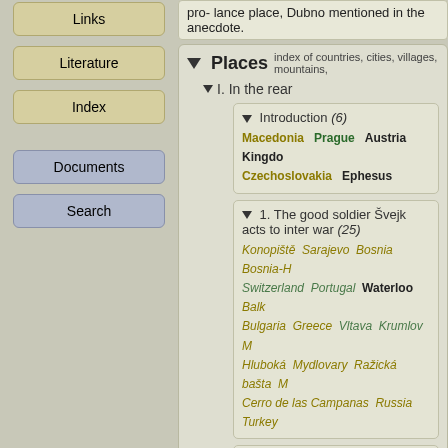Links
Literature
Index
Documents
Search
pro- lance place, Dubno mentioned in the anecdote.
Places index of countries, cities, villages, mountains,
I. In the rear
Introduction (6)
Macedonia  Prague  Austria  Kingdom  Czechoslovakia  Ephesus
1. The good soldier Švejk acts to inter- war (25)
Konopiště  Sarajevo  Bosnia  Bosnia-H  Switzerland  Portugal  Waterloo  Balk  Bulgaria  Greece  Vltava  Krumlov  H  Hluboká  Mydlovary  Ražická bašta  M  Cerro de las Campanas  Russia  Turkey
2. The good soldier Švejk at police he
Holice  Řetězová ulice  Hodkovičky  Kočevje  Eliščin most  Golgotha